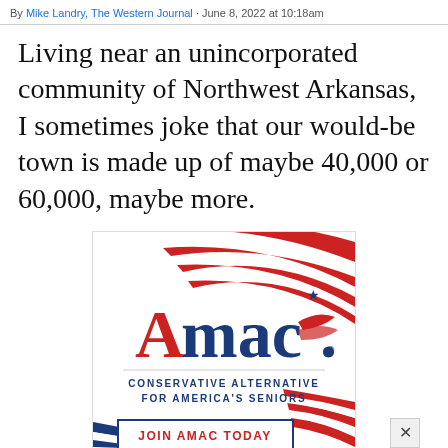By Mike Landry, The Western Journal · June 8, 2022 at 10:18am
Living near an unincorporated community of Northwest Arkansas, I sometimes joke that our would-be town is made up of maybe 40,000 or 60,000, maybe more.
[Figure (logo): AMAC advertisement banner showing the AMAC logo (red letter A, blue 'mac' with star and wing/eagle design), tagline 'CONSERVATIVE ALTERNATIVE FOR AMERICA'S SENIORS', and a 'JOIN AMAC TODAY' button. Background features red and blue curved stripes on white.]